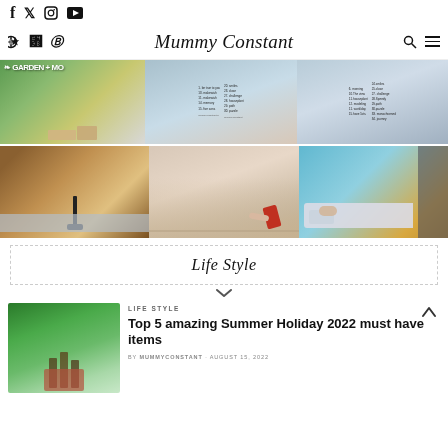Social icons: Facebook, Twitter, Instagram, YouTube
Mummy Constant
[Figure (photo): 3x2 grid of photos: garden/furniture, checklist overlays, wood detail, woman with phone, child in hospital bed]
Life Style
[Figure (photo): Thumbnail photo of family in a park with trees]
LIFE STYLE
Top 5 amazing Summer Holiday 2022 must have items
BY MUMMYCONSTANT · AUGUST 15, 2022